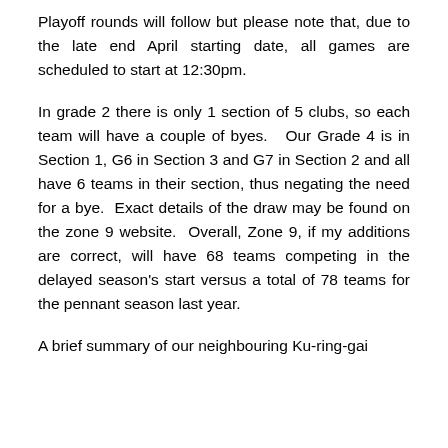Playoff rounds will follow but please note that, due to the late end April starting date, all games are scheduled to start at 12:30pm.
In grade 2 there is only 1 section of 5 clubs, so each team will have a couple of byes.   Our Grade 4 is in Section 1, G6 in Section 3 and G7 in Section 2 and all have 6 teams in their section, thus negating the need for a bye.  Exact details of the draw may be found on the zone 9 website.  Overall, Zone 9, if my additions are correct, will have 68 teams competing in the delayed season's start versus a total of 78 teams for the pennant season last year.
A brief summary of our neighbouring Ku-ring-gai